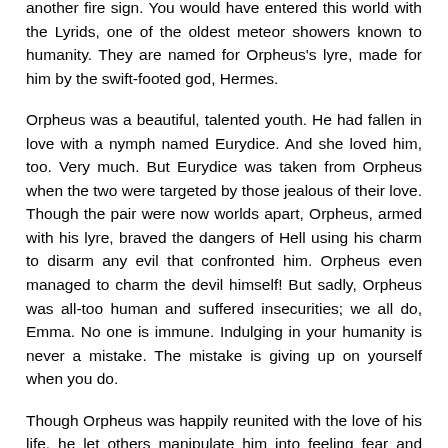another fire sign. You would have entered this world with the Lyrids, one of the oldest meteor showers known to humanity. They are named for Orpheus's lyre, made for him by the swift-footed god, Hermes.
Orpheus was a beautiful, talented youth. He had fallen in love with a nymph named Eurydice. And she loved him, too. Very much. But Eurydice was taken from Orpheus when the two were targeted by those jealous of their love. Though the pair were now worlds apart, Orpheus, armed with his lyre, braved the dangers of Hell using his charm to disarm any evil that confronted him. Orpheus even managed to charm the devil himself! But sadly, Orpheus was all-too human and suffered insecurities; we all do, Emma. No one is immune. Indulging in your humanity is never a mistake. The mistake is giving up on yourself when you do.
Though Orpheus was happily reunited with the love of his life, he let others manipulate him into feeling fear and doubt, turning his loyalty into betrayal before he even knew what was happening. Instead of living in the present, Orpheus fell prey to his past; he was afraid that if